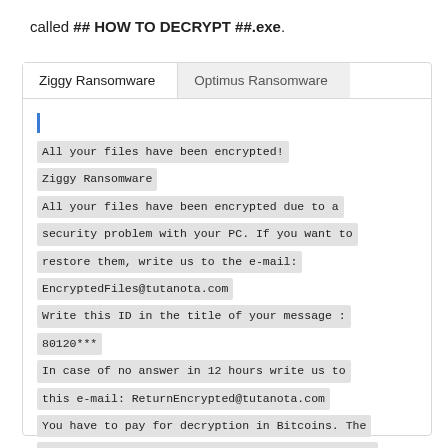called ## HOW TO DECRYPT ##.exe.
[Figure (screenshot): A tabbed UI panel showing two tabs: 'Ziggy Ransomware' (active) and 'Optimus Ransomware' (inactive). The active tab displays a monospace text block containing a ransomware note: 'All your files have been encrypted! Ziggy Ransomware All your files have been encrypted due to a security problem with your PC. If you want to restore them, write us to the e-mail: EncryptedFiles@tutanota.com Write this ID in the title of your message : 80120*** In case of no answer in 12 hours write us to this e-mail: ReturnEncrypted@tutanota.com You have to pay for decryption in Bitcoins. The price depends on how fast you write to us. After']